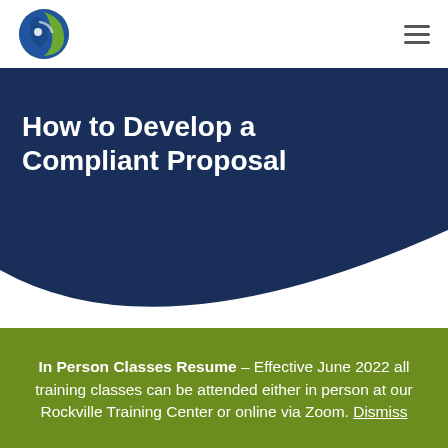[Logo] [Hamburger menu icon]
How to Develop a Compliant Proposal
In Person Classes Resume – Effective June 2022 all training classes can be attended either in person at our Rockville Training Center or online via Zoom. Dismiss